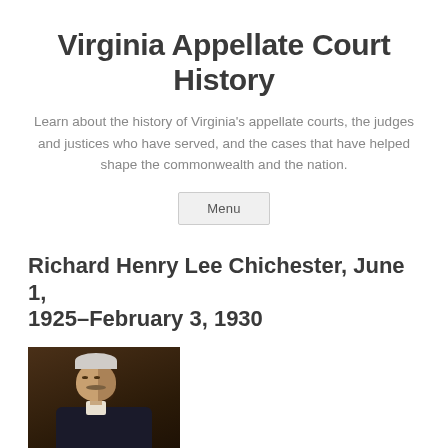Virginia Appellate Court History
Learn about the history of Virginia's appellate courts, the judges and justices who have served, and the cases that have helped shape the commonwealth and the nation.
Richard Henry Lee Chichester, June 1, 1925–February 3, 1930
[Figure (photo): Portrait painting of Richard Henry Lee Chichester, an elderly man with white/grey hair and a mustache, wearing a dark suit, painted against a dark brown background.]